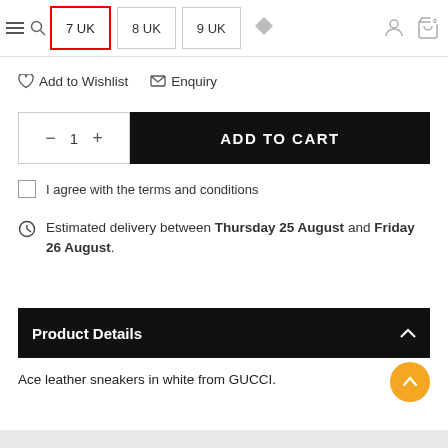7 UK   8 UK   9 UK
Add to Wishlist   Enquiry
− 1 +   ADD TO CART
I agree with the terms and conditions
Estimated delivery between Thursday 25 August and Friday 26 August.
Product Details
Ace leather sneakers in white from GUCCI.